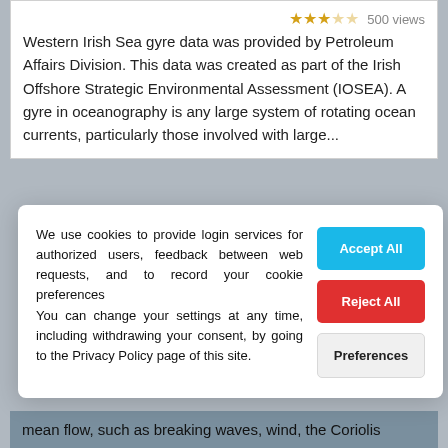Western Irish Sea gyre data was provided by Petroleum Affairs Division. This data was created as part of the Irish Offshore Strategic Environmental Assessment (IOSEA). A gyre in oceanography is any large system of rotating ocean currents, particularly those involved with large...
We use cookies to provide login services for authorized users, feedback between web requests, and to record your cookie preferences
You can change your settings at any time, including withdrawing your consent, by going to the Privacy Policy page of this site.
mean flow, such as breaking waves, wind, the Coriolis